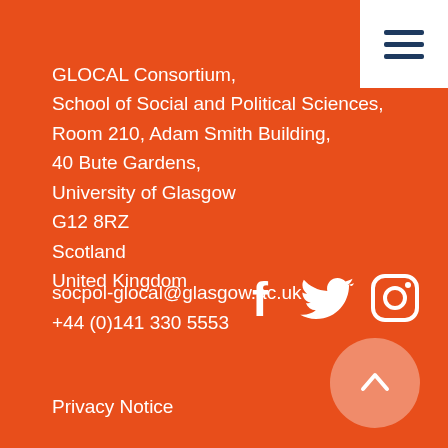[Figure (other): White hamburger menu button in top-right corner on white background]
GLOCAL Consortium,
School of Social and Political Sciences,
Room 210, Adam Smith Building,
40 Bute Gardens,
University of Glasgow
G12 8RZ
Scotland
United Kingdom
socpol-glocal@glasgow.ac.uk
+44 (0)141 330 5553
[Figure (illustration): White social media icons: Facebook, Twitter, Instagram]
[Figure (illustration): Semi-transparent circular back-to-top button with upward chevron]
Privacy Notice